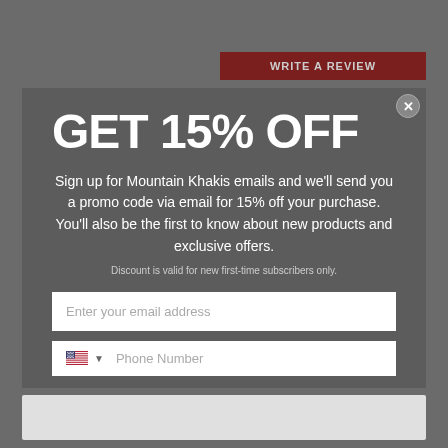WRITE A REVIEW
GET 15% OFF
Sign up for Mountain Khakis emails and we'll send you a promo code via email for 15% off your purchase. You'll also be the first to know about new products and exclusive offers.
Discount is valid for new first-time subscribers only.
Enter your email address
Phone Number
By clicking SUBSCRIBE, you agree to receive marketing text messages from Mountain Khakis at the number provided, including messages sent by autodialer. Consent is not a condition of any purchase. Message and data rates may apply. Message frequency varies. Reply HELP for help or STOP to cancel. View our Privacy Policy and Terms of Service.
Subscribe